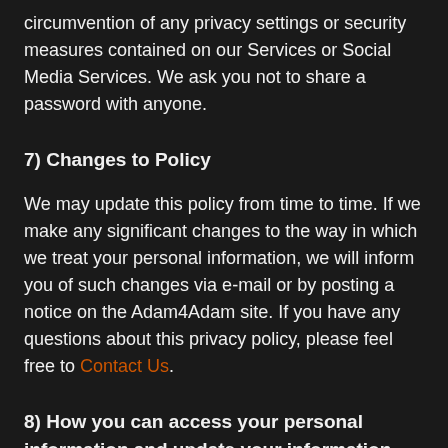circumvention of any privacy settings or security measures contained on our Services or Social Media Services. We ask you not to share a password with anyone.
7) Changes to Policy
We may update this policy from time to time. If we make any significant changes to the way in which we treat your personal information, we will inform you of such changes via e-mail or by posting a notice on the Adam4Adam site. If you have any questions about this privacy policy, please feel free to Contact Us.
8) How you can access your personal information and update your information
You can access some of the personal information that we collect about you by logging in to your account. You also have the right to make a request to access other personal